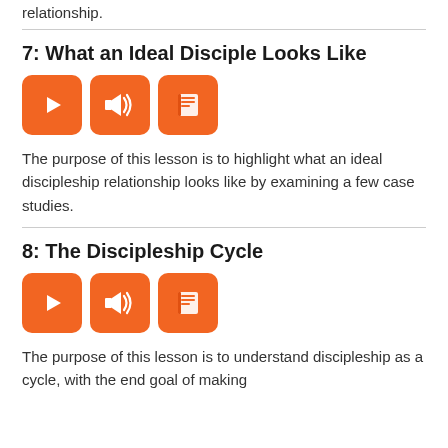relationship.
7: What an Ideal Disciple Looks Like
[Figure (infographic): Three orange rounded square icon buttons: video play button, audio/speaker button, and book/reading button]
The purpose of this lesson is to highlight what an ideal discipleship relationship looks like by examining a few case studies.
8: The Discipleship Cycle
[Figure (infographic): Three orange rounded square icon buttons: video play button, audio/speaker button, and book/reading button]
The purpose of this lesson is to understand discipleship as a cycle, with the end goal of making